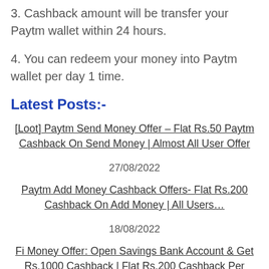3. Cashback amount will be transfer your Paytm wallet within 24 hours.
4. You can redeem your money into Paytm wallet per day 1 time.
Latest Posts:-
[Loot] Paytm Send Money Offer – Flat Rs.50 Paytm Cashback On Send Money | Almost All User Offer
27/08/2022
Paytm Add Money Cashback Offers- Flat Rs.200 Cashback On Add Money | All Users…
18/08/2022
Fi Money Offer: Open Savings Bank Account & Get Rs.1000 Cashback | Flat Rs.200 Cashback Per Refer |